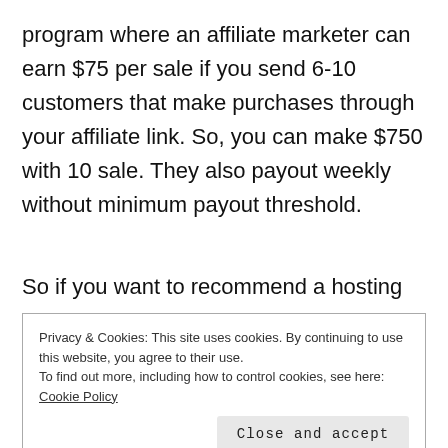program where an affiliate marketer can earn $75 per sale if you send 6-10 customers that make purchases through your affiliate link. So, you can make $750 with 10 sale. They also payout weekly without minimum payout threshold.
So if you want to recommend a hosting
Privacy & Cookies: This site uses cookies. By continuing to use this website, you agree to their use.
To find out more, including how to control cookies, see here: Cookie Policy
Close and accept